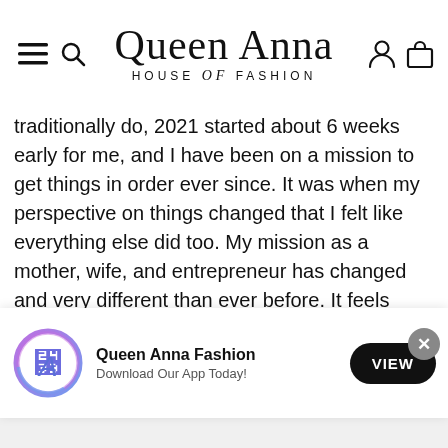Queen Anna HOUSE of FASHION
traditionally do, 2021 started about 6 weeks early for me, and I have been on a mission to get things in order ever since. It was when my perspective on things changed that I felt like everything else did too. My mission as a mother, wife, and entrepreneur has changed and very different than ever before. It feels good to know that for once in my adult life that, I didn't "auto-pilot" these findings. Instead, I was forced to slow down, live, listen, learn, and adjust. If it weren't for 2020, I can't say that I actually would have and for that reason alone, I will be forever grateful for the lessons learned, the challenges that made me tap into my bucket of resilience that I...
[Figure (screenshot): App download banner for Queen Anna Fashion with app icon, name, tagline 'Download Our App Today!' and a VIEW button, plus a close (X) button overlay]